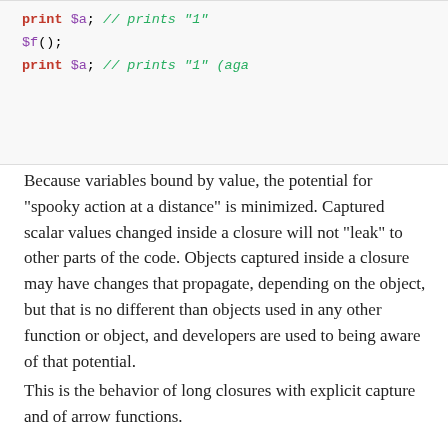[Figure (screenshot): Code block showing PHP code: 'print $a; // prints "1"', '$f();', 'print $a; // prints "1" (aga']
Because variables bound by value, the potential for “spooky action at a distance” is minimized. Captured scalar values changed inside a closure will not “leak” to other parts of the code. Objects captured inside a closure may have changes that propagate, depending on the object, but that is no different than objects used in any other function or object, and developers are used to being aware of that potential.
This is the behavior of long closures with explicit capture and of arrow functions.